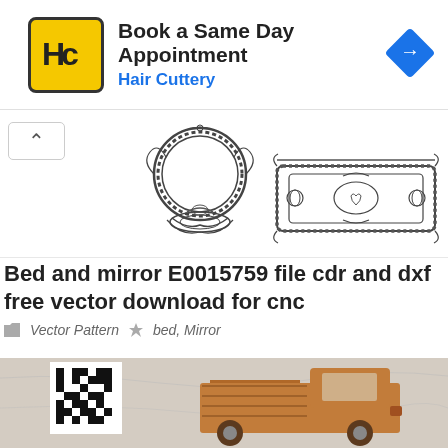[Figure (screenshot): Hair Cuttery advertisement banner with yellow/black HC logo, 'Book a Same Day Appointment' headline, and blue diamond navigation arrow icon]
[Figure (illustration): Decorative vector art showing an ornate circular mirror frame and an ornate rectangular bed headboard frame, both with intricate scrollwork designs, in black outline style]
Bed and mirror E0015759 file cdr and dxf free vector download for cnc
Vector Pattern  bed, Mirror
[Figure (photo): Photo of a wooden laser-cut toy fire truck / bed frame model in brown wood, with a QR code in the upper left corner, on a marble/stone background]